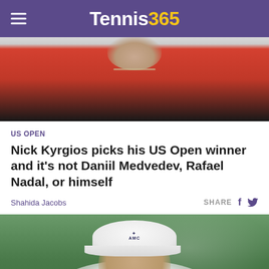Tennis365
[Figure (photo): Close-up photo of a tennis player's torso wearing a red and black outfit with a chain necklace, cropped at the neck and chest.]
US OPEN
Nick Kyrgios picks his US Open winner and it's not Daniil Medvedev, Rafael Nadal, or himself
Shahida Jacobs
[Figure (photo): Photo of a tennis player (Andy Murray) wearing a white Castore cap and white shirt, looking downward with a pained expression, with blurred green background.]